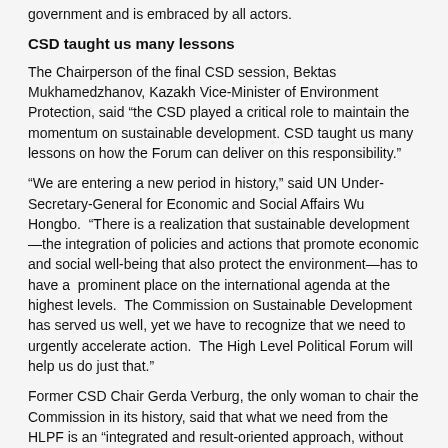government and is embraced by all actors.
CSD taught us many lessons
The Chairperson of the final CSD session, Bektas Mukhamedzhanov, Kazakh Vice-Minister of Environment Protection, said “the CSD played a critical role to maintain the momentum on sustainable development. CSD taught us many lessons on how the Forum can deliver on this responsibility.”
“We are entering a new period in history,” said UN Under-Secretary-General for Economic and Social Affairs Wu Hongbo.  “There is a realization that sustainable development—the integration of policies and actions that promote economic and social well-being that also protect the environment—has to have a  prominent place on the international agenda at the highest levels.  The Commission on Sustainable Development has served us well, yet we have to recognize that we need to urgently accelerate action.  The High Level Political Forum will help us do just that.”
Former CSD Chair Gerda Verburg, the only woman to chair the Commission in its history, said that what we need from the HLPF is an “integrated and result-oriented approach, without dogmas and a fixation on talks and negotiation. It is our generation that can and has to make the difference”.
A platform for inspiring action
The CSD has been credited with helping countries share ideas and best